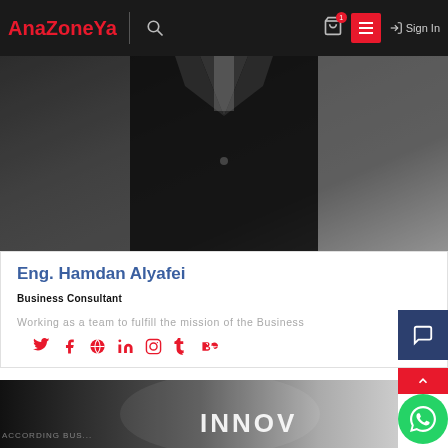AnaZoneYa | Sign In
[Figure (photo): Profile photo of a person wearing a dark suit, photographed from the chest down]
Eng. Hamdan Alyafei
Business Consultant
Working as a team to fulfill the mission of the Business
[Figure (photo): Bottom banner image with blurred dark background and text reading INNOV...]